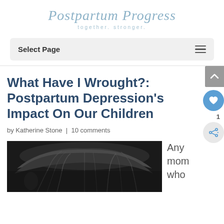Postpartum Progress
together. stronger.
Select Page
What Have I Wrought?: Postpartum Depression’s Impact On Our Children
by Katherine Stone | 10 comments
[Figure (photo): Black and white photo showing a woman's head from above, hair visible, dimly lit, dark background]
Any mom who